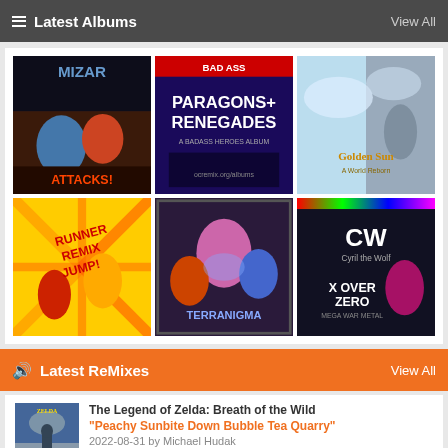Latest Albums  View All
[Figure (photo): Grid of 6 video game music album covers: Mizar Attacks, Paragons + Renegades, Golden Sun: A World Reborn, Runner Remix Jump!, Terranigma remix album, X Over Zero - Mega War Metal]
Latest ReMixes  View All
[Figure (photo): Album art thumbnail for The Legend of Zelda: Breath of the Wild remix]
The Legend of Zelda: Breath of the Wild
"Peachy Sunbite Down Bubble Tea Quarry"
2022-08-31 by Michael Hudak